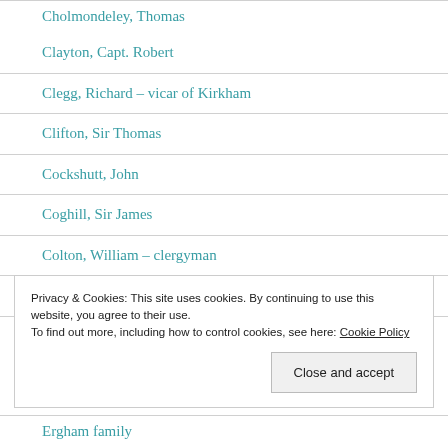Cholmondeley, Thomas
Clayton, Capt. Robert
Clegg, Richard – vicar of Kirkham
Clifton, Sir Thomas
Cockshutt, John
Coghill, Sir James
Colton, William – clergyman
Croston, Richard
Privacy & Cookies: This site uses cookies. By continuing to use this website, you agree to their use.
To find out more, including how to control cookies, see here: Cookie Policy
Ergham family